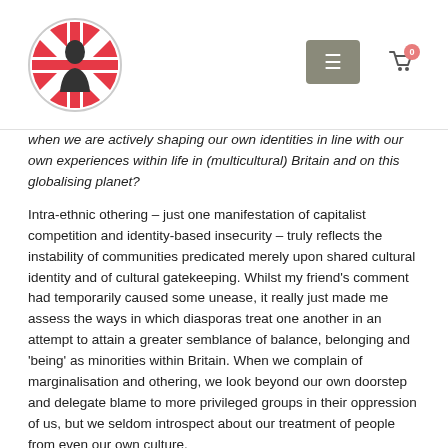[Logo: circular Union Jack with figure] [Menu button] [Cart icon with badge 0]
when we are actively shaping our own identities in line with our own experiences within life in (multicultural) Britain and on this globalising planet?
Intra-ethnic othering – just one manifestation of capitalist competition and identity-based insecurity – truly reflects the instability of communities predicated merely upon shared cultural identity and of cultural gatekeeping. Whilst my friend's comment had temporarily caused some unease, it really just made me assess the ways in which diasporas treat one another in an attempt to attain a greater semblance of balance, belonging and 'being' as minorities within Britain. When we complain of marginalisation and othering, we look beyond our own doorstep and delegate blame to more privileged groups in their oppression of us, but we seldom introspect about our treatment of people from even our own culture.
By Anushka Chaudhuri